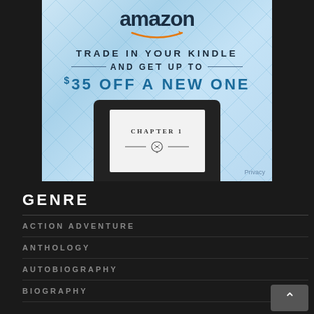[Figure (illustration): Amazon advertisement banner: 'TRADE IN YOUR KINDLE AND GET UP TO $35 OFF A NEW ONE' with Amazon logo and a Kindle device showing 'CHAPTER 1' on screen. Privacy link in bottom right.]
GENRE
ACTION ADVENTURE
ANTHOLOGY
AUTOBIOGRAPHY
BIOGRAPHY